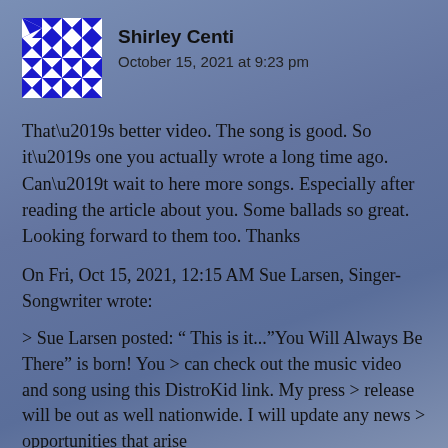[Figure (illustration): Avatar icon with blue and white geometric quilt-pattern square design]
Shirley Centi
October 15, 2021 at 9:23 pm
That’s better video. The song is good. So it’s one you actually wrote a long time ago. Can’t wait to here more songs. Especially after reading the article about you. Some ballads so great. Looking forward to them too. Thanks
On Fri, Oct 15, 2021, 12:15 AM Sue Larsen, Singer-Songwriter wrote:
> Sue Larsen posted: “ This is it...”You Will Always Be There” is born! You > can check out the music video and song using this DistroKid link. My press > release will be out as well nationwide. I will update any news > opportunities that arise